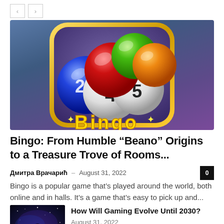[Figure (screenshot): Navigation arrows (back and forward) UI element]
[Figure (illustration): Bingo mobile game app icon showing colorful bingo balls (red, blue, green, white, orange) with numbers on a purple/dark background with yellow rounded square border]
Bingo: From Humble “Beano” Origins to a Treasure Trove of Rooms...
Дмитра Врачарић – August 31, 2022
Bingo is a popular game that’s played around the world, both online and in halls. It’s a game that’s easy to pick up and...
[Figure (photo): Dark atmospheric gaming image with a figure silhouette and cosmic/space background with purple and blue tones]
How Will Gaming Evolve Until 2030?
August 31, 2022